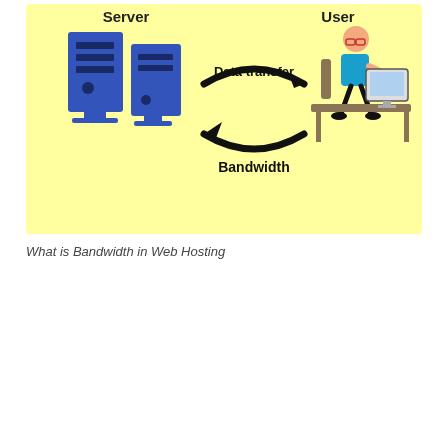[Figure (infographic): Infographic on yellow background showing two server towers on the left labeled 'Server', a person at a computer on the right labeled 'User', with two curved arrows between them: one pointing right labeled 'Data transfer' and one pointing left labeled 'Bandwidth'.]
What is Bandwidth in Web Hosting